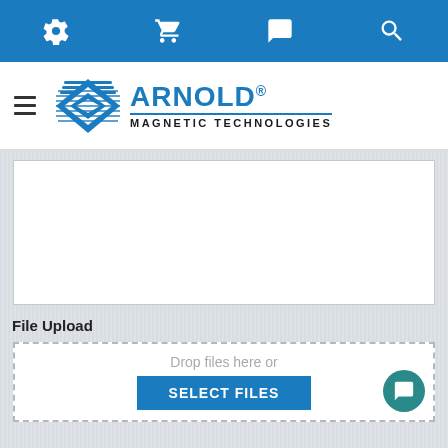[Figure (screenshot): Top navigation bar with gear, cart, chat, and search icons on blue background]
[Figure (logo): Arnold Magnetic Technologies logo with diamond/stripe emblem and blue wordmark]
[Figure (screenshot): White text input box area (content area)]
File Upload
[Figure (screenshot): File drop zone with 'Drop files here or' text and SELECT FILES button]